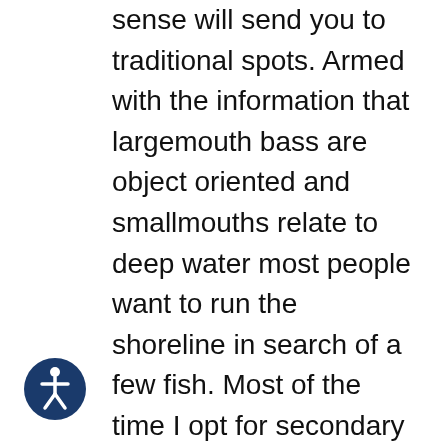sense will send you to traditional spots. Armed with the information that largemouth bass are object oriented and smallmouths relate to deep water most people want to run the shoreline in search of a few fish. Most of the time I opt for secondary cover for largemouth. It's been my experience that big bass will use secondary structure to make trips to shallow water to feed and then retreat to secondary objects. This also allows them to migrate quickly to deep water during drastic weather and water changes or seasonal migration. This theory also lends itself to energy economics, the fish doesn't expend excess energy making the longer trips.
[Figure (other): Accessibility icon — a circular navy blue button with a white human figure (universal accessibility symbol)]